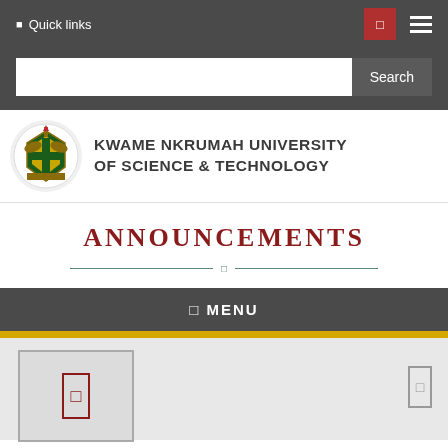Quick links
[Figure (screenshot): University search bar with Search button]
[Figure (logo): Kwame Nkrumah University of Science & Technology crest logo]
KWAME NKRUMAH UNIVERSITY OF SCIENCE & TECHNOLOGY
ANNOUNCEMENTS
☰ MENU
[Figure (screenshot): Content card area with image placeholder and navigation arrow icon]